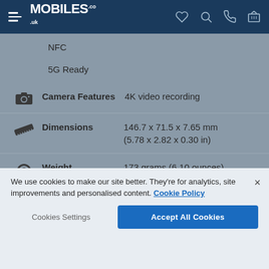MOBILES.CO.UK
NFC
5G Ready
Camera Features: 4K video recording
Dimensions: 146.7 x 71.5 x 7.65 mm (5.78 x 2.82 x 0.30 in)
Weight: 173 grams (6.10 ounces)
Display Size: 6.1"
We use cookies to make our site better. They're for analytics, site improvements and personalised content. Cookie Policy
Cookies Settings | Accept All Cookies